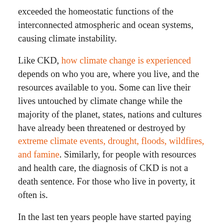exceeded the homeostatic functions of the interconnected atmospheric and ocean systems, causing climate instability.
Like CKD, how climate change is experienced depends on who you are, where you live, and the resources available to you. Some can live their lives untouched by climate change while the majority of the planet, states, nations and cultures have already been threatened or destroyed by extreme climate events, drought, floods, wildfires, and famine. Similarly, for people with resources and health care, the diagnosis of CKD is not a death sentence. For those who live in poverty, it often is.
In the last ten years people have started paying attention to the Chronic Kidney Disease epidemic. Around the world